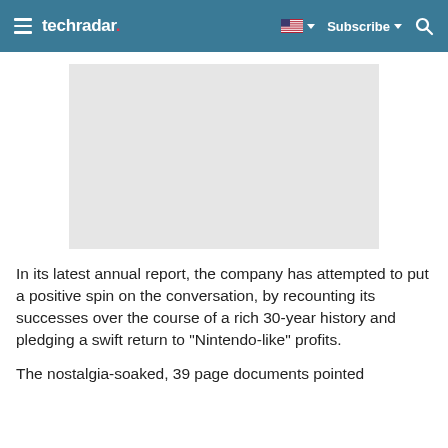techradar | Subscribe
[Figure (photo): Light grey placeholder image area]
In its latest annual report, the company has attempted to put a positive spin on the conversation, by recounting its successes over the course of a rich 30-year history and pledging a swift return to "Nintendo-like" profits.
The nostalgia-soaked, 39 page documents pointed